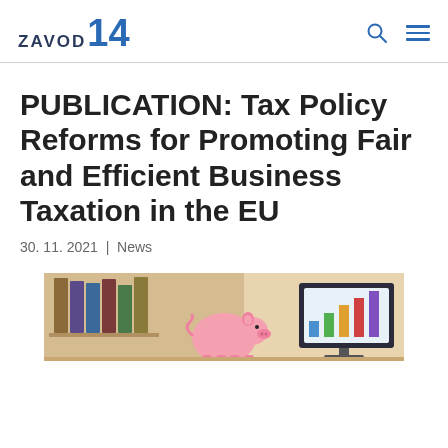ZAVOD14
PUBLICATION: Tax Policy Reforms for Promoting Fair and Efficient Business Taxation in the EU
30. 11. 2021 | News
[Figure (photo): Photo showing a pink piggy bank and a computer screen with financial charts in the background, with office binders visible.]